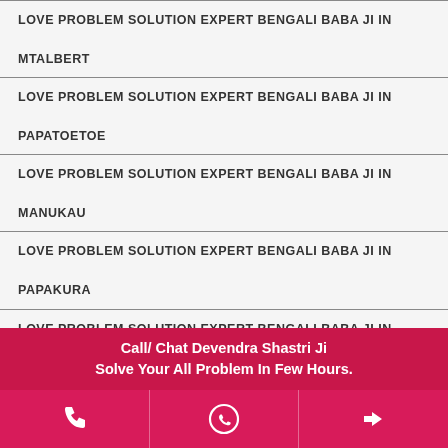LOVE PROBLEM SOLUTION EXPERT BENGALI BABA JI IN MTALBERT
LOVE PROBLEM SOLUTION EXPERT BENGALI BABA JI IN PAPATOETOE
LOVE PROBLEM SOLUTION EXPERT BENGALI BABA JI IN MANUKAU
LOVE PROBLEM SOLUTION EXPERT BENGALI BABA JI IN PAPAKURA
LOVE PROBLEM SOLUTION EXPERT BENGALI BABA JI IN TAMAKI
Call/ Chat Devendra Shastri Ji
Solve Your All Problem In Few Hours.